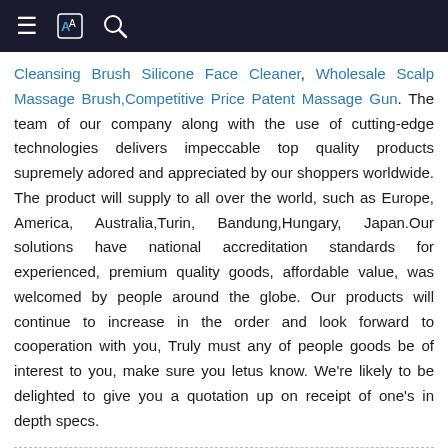Navigation bar with menu, translate, and search icons
Cleansing Brush Silicone Face Cleaner, Wholesale Scalp Massage Brush,Competitive Price Patent Massage Gun. The team of our company along with the use of cutting-edge technologies delivers impeccable top quality products supremely adored and appreciated by our shoppers worldwide. The product will supply to all over the world, such as Europe, America, Australia,Turin, Bandung,Hungary, Japan.Our solutions have national accreditation standards for experienced, premium quality goods, affordable value, was welcomed by people around the globe. Our products will continue to increase in the order and look forward to cooperation with you, Truly must any of people goods be of interest to you, make sure you letus know. We're likely to be delighted to give you a quotation up on receipt of one's in depth specs.
Related Products